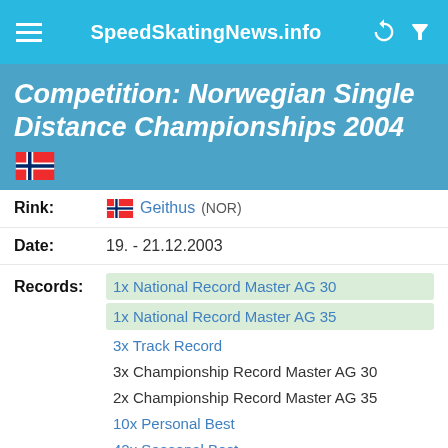SpeedSkatingNews.info
Competition: Norwegian Single Distance Championships 2004
Rink: Geithus (NOR)
Date: 19. - 21.12.2003
Records: 1x National Record Master AG 30, 1x National Record Master AG 35, 3x Track Record, 3x Championship Record Master AG 30, 2x Championship Record Master AG 35, 10x Personal Best, 42x Seasonal Best
Informati... 62 athletes from 1 nation, 16 women and 46 men